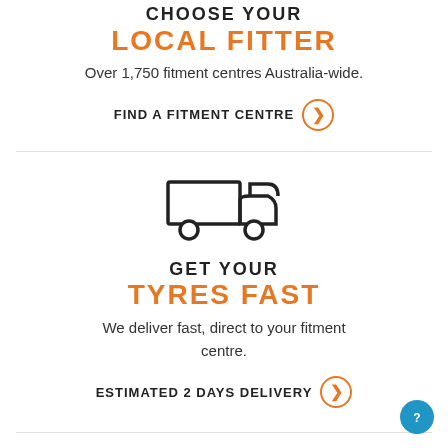CHOOSE YOUR LOCAL FITTER
Over 1,750 fitment centres Australia-wide.
FIND A FITMENT CENTRE
[Figure (illustration): Delivery truck icon outlined in dark, with two wheels shown as circles below.]
GET YOUR TYRES FAST
We deliver fast, direct to your fitment centre.
ESTIMATED 2 DAYS DELIVERY